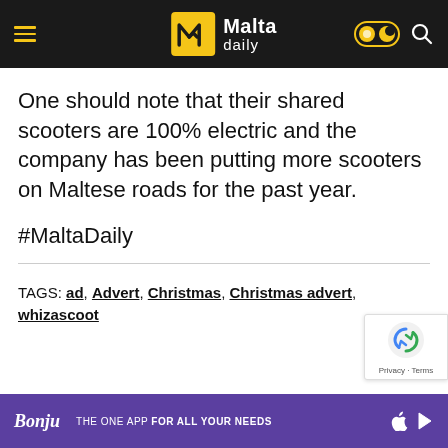Malta daily
One should note that their shared scooters are 100% electric and the company has been putting more scooters on Maltese roads for the past year.
#MaltaDaily
TAGS: ad, Advert, Christmas, Christmas advert, whizascoot
Bonjo - THE ONE APP FOR ALL YOUR NEEDS